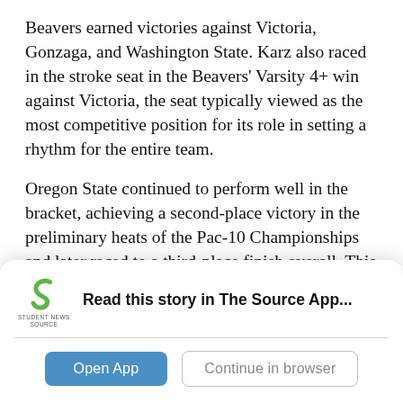Beavers earned victories against Victoria, Gonzaga, and Washington State. Karz also raced in the stroke seat in the Beavers' Varsity 4+ win against Victoria, the seat typically viewed as the most competitive position for its role in setting a rhythm for the entire team.
Oregon State continued to perform well in the bracket, achieving a second-place victory in the preliminary heats of the Pac-10 Championships and later raced to a third-place finish overall. This was the first time OSU's Varsity 8 had reached the [cut off]
[Figure (logo): Student News Source app logo — green stylized 'S' with text 'STUDENT NEWS SOURCE' below]
Read this story in The Source App...
Open App | Continue in browser